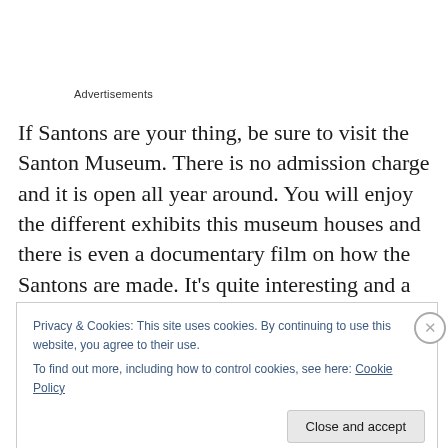Advertisements
If Santons are your thing, be sure to visit the Santon Museum. There is no admission charge and it is open all year around. You will enjoy the different exhibits this museum houses and there is even a documentary film on how the Santons are made. It’s quite interesting and a delight to see.
Privacy & Cookies: This site uses cookies. By continuing to use this website, you agree to their use.
To find out more, including how to control cookies, see here: Cookie Policy
Close and accept